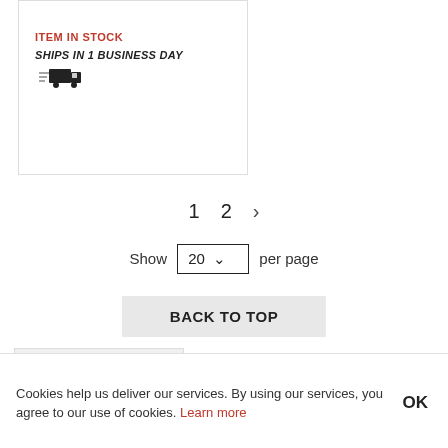[Figure (infographic): Product card showing ITEM IN STOCK in red bold text and SHIPS IN 1 BUSINESS DAY in bold italic with a truck icon]
1  2  >
Show 20 v per page
BACK TO TOP
Description
Who's It For?
The newest product series released from Scotty
Cookies help us deliver our services. By using our services, you agree to our use of cookies. Learn more